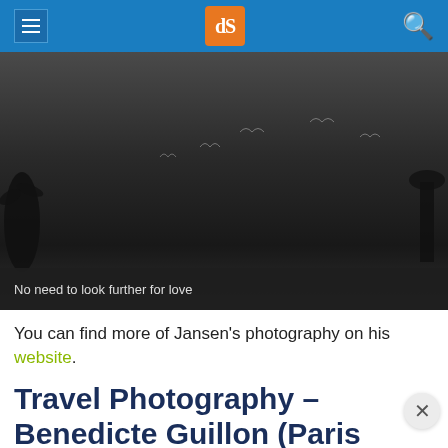dPS (digital Photography School) navigation header with menu, logo, and search
[Figure (photo): Dark monochrome photograph showing birds flying in a dark sky, with silhouettes of palm trees on the edges. Gradient from dark grey to near black.]
No need to look further for love
You can find more of Jansen's photography on his website.
Travel Photography – Benedicte Guillon (Paris